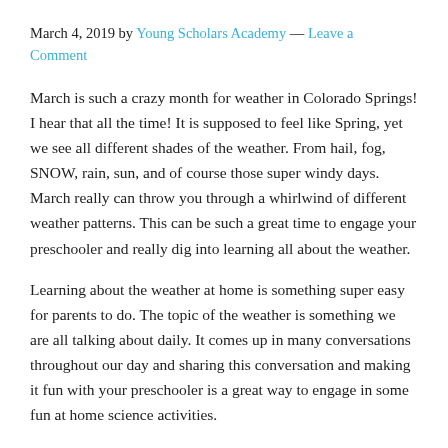March 4, 2019 by Young Scholars Academy — Leave a Comment
March is such a crazy month for weather in Colorado Springs! I hear that all the time! It is supposed to feel like Spring, yet we see all different shades of the weather. From hail, fog, SNOW, rain, sun, and of course those super windy days. March really can throw you through a whirlwind of different weather patterns. This can be such a great time to engage your preschooler and really dig into learning all about the weather.
Learning about the weather at home is something super easy for parents to do. The topic of the weather is something we are all talking about daily. It comes up in many conversations throughout our day and sharing this conversation and making it fun with your preschooler is a great way to engage in some fun at home science activities.